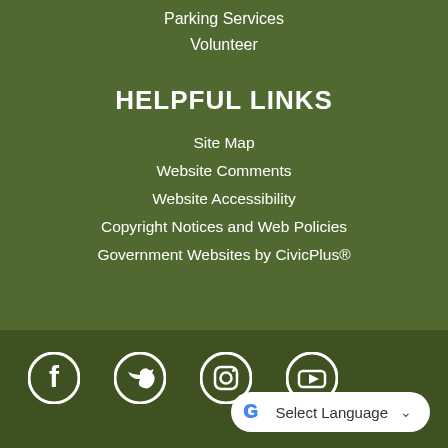Parking Services
Volunteer
HELPFUL LINKS
Site Map
Website Comments
Website Accessibility
Copyright Notices and Web Policies
Government Websites by CivicPlus®
[Figure (illustration): Social media icons row: Facebook, Twitter, Instagram, YouTube — white icons on dark green background]
Select Language